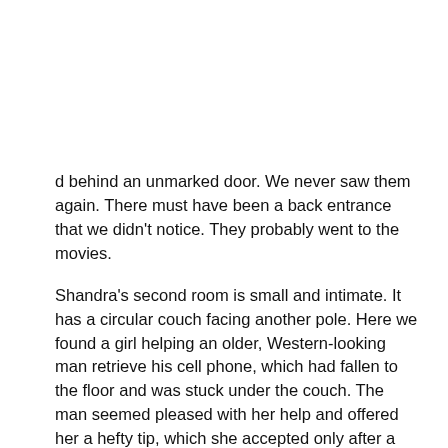d behind an unmarked door. We never saw them again. There must have been a back entrance that we didn't notice. They probably went to the movies.
Shandra's second room is small and intimate. It has a circular couch facing another pole. Here we found a girl helping an older, Western-looking man retrieve his cell phone, which had fallen to the floor and was stuck under the couch. The man seemed pleased with her help and offered her a hefty tip, which she accepted only after a long and thoughtful hesitation. After all, she had her reputation to think about.
Everything was on the up and up - or so it seemed. Looking at the menu, it occurred to us: What if the menu items were actually coded sex offerings? The names of some of the dishes seemed to confirm our suspicions. A "Sex on the Beach" sushi roll didn't sound like it was served with tuna. Our gut told us it was more like a plateful of warm, moist snapper. The more we read the menu, the more we were convinced.
We ordered a random sample of suspect items, but our guts were wrong. We were served with nothing more and nothing less than a whole lot of tasty food. The Sex on the Beach roll (400r) was made with unagi and